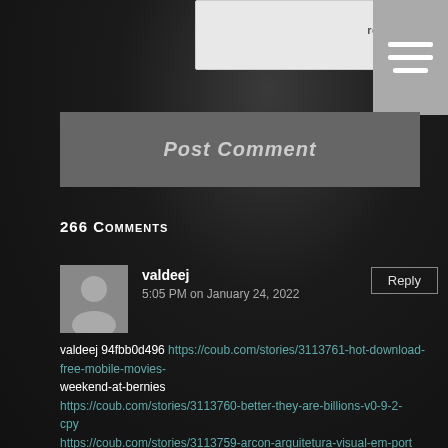[Figure (screenshot): reCAPTCHA widget partially visible at top, with Privacy and Terms links. Gray hamburger menu icon in upper right.]
[Figure (other): Post Comment button, gray background, italic text]
266 Comments
valdeej
5:05 PM on January 24, 2022
valdeej 94fbb0d496 https://coub.com/stories/3113761-hot-download-free-mobile-movies-
weekend-at-bernies
https://coub.com/stories/3113760-better-they-are-billions-v0-9-2-cpy
https://coub.com/stories/3113759-arcon-arquitetura-visual-em-port
uguesrar-formsayr
https://coub.com/stories/3113758-forza-horizon-2-pc-download-utor
rent-20-best
https://coub.com/stories/3113756-p3d-fsx-xp-simplugins-panel-buil
der-crack-free-uccmar
https://coub.com/stories/3113757-fm-method-book-best-download-e-b
ooks-free-pdf
https://coub.com/stories/3113755-repack-reallusion-cartoon-animat
or-4-1-crack-full-torrent-2020